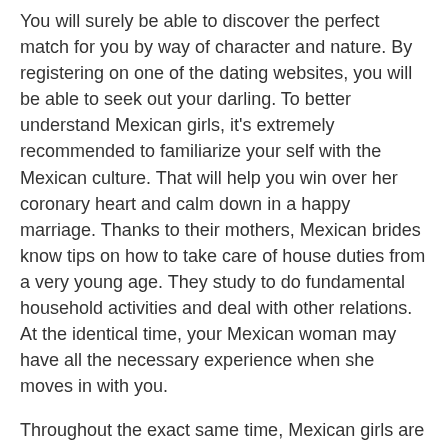You will surely be able to discover the perfect match for you by way of character and nature. By registering on one of the dating websites, you will be able to seek out your darling. To better understand Mexican girls, it's extremely recommended to familiarize your self with the Mexican culture. That will help you win over her coronary heart and calm down in a happy marriage. Thanks to their mothers, Mexican brides know tips on how to take care of house duties from a very young age. They study to do fundamental household activities and deal with other relations. At the identical time, your Mexican woman may have all the necessary experience when she moves in with you.
Throughout the exact same time, Mexican girls are going out with worldwide males since they need various things and thrilling. Brazilian ladies like kids, and most are from giant households precisely the place in actuality the older kids https://mailorderbrides.net/mexican-brides/ take care of all their more youthful brothers and sisters. Online romance web sites is certainly an provided choice for nearly all of males who wish to obtain wedded to around the globe girls.